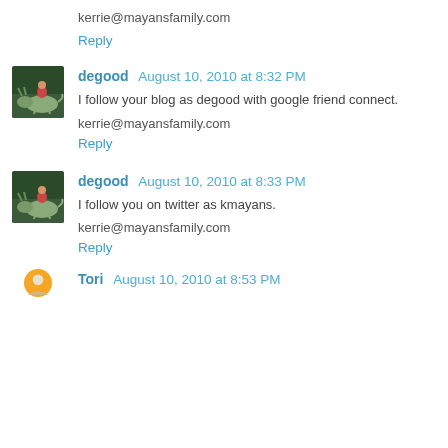kerrie@mayansfamily.com
Reply
[Figure (photo): Small avatar photo of a person riding an animal (dinosaur figure), used as commenter profile picture for degood]
degood  August 10, 2010 at 8:32 PM
I follow your blog as degood with google friend connect.
kerrie@mayansfamily.com
Reply
[Figure (photo): Small avatar photo of a person riding an animal (dinosaur figure), used as commenter profile picture for degood]
degood  August 10, 2010 at 8:33 PM
I follow you on twitter as kmayans.
kerrie@mayansfamily.com
Reply
[Figure (photo): Partial avatar photo for Tori commenter, orange/round style]
Tori  August 10, 2010 at 8:53 PM